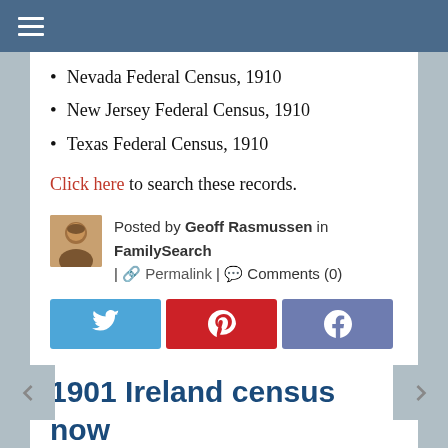☰
Nevada Federal Census, 1910
New Jersey Federal Census, 1910
Texas Federal Census, 1910
Click here to search these records.
Posted by Geoff Rasmussen in FamilySearch | Permalink | Comments (0)
[Figure (infographic): Social share buttons: Twitter (blue), Pinterest (red), Facebook (slate blue)]
1901 Ireland census now online